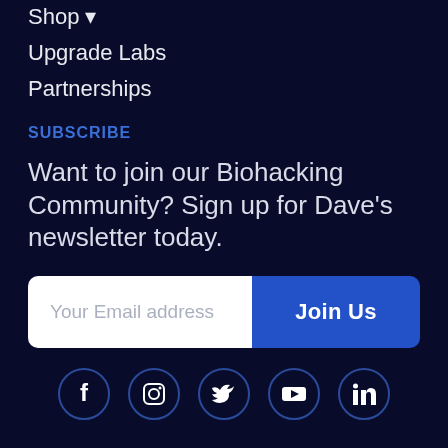Shop ▾
Upgrade Labs
Partnerships
SUBSCRIBE
Want to join our Biohacking Community? Sign up for Dave's newsletter today.
[Figure (other): Email subscription form with placeholder 'Your Email address' and a blue 'Join Us' button]
[Figure (other): Social media icons row: Facebook, Instagram, Twitter, YouTube, LinkedIn — each in a dark circle with blue border]